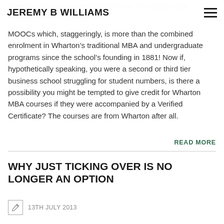JEREMY B WILLIAMS
But there's more: around 700,000 students in 173 countries have already enrolled in Wharton MOOCs which, staggeringly, is more than the combined enrolment in Wharton’s traditional MBA and undergraduate programs since the school’s founding in 1881! Now if, hypothetically speaking, you were a second or third tier business school struggling for student numbers, is there a possibility you might be tempted to give credit for Wharton MBA courses if they were accompanied by a Verified Certificate? The courses are from Wharton after all.
READ MORE
WHY JUST TICKING OVER IS NO LONGER AN OPTION
13TH JULY 2013